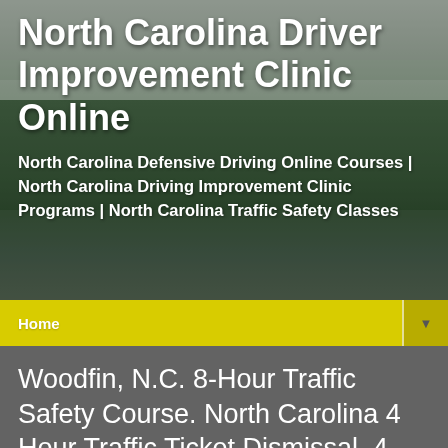[Figure (photo): Hero background image showing a foggy forested landscape with green trees and grey sky]
North Carolina Driver Improvement Clinic Online
North Carolina Defensive Driving Online Courses | North Carolina Driving Improvement Clinic Programs | North Carolina Traffic Safety Classes
Home ▼
Woodfin, N.C. 8-Hour Traffic Safety Course. North Carolina 4 Hour Traffic Ticket Dismissal. 4-Hour Traffic Safety School Courses. Quick and Easy Traffic Safety Course
Woodfin, N.C.